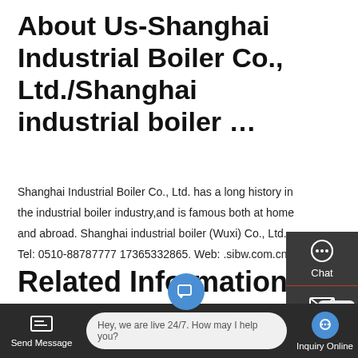About Us-Shanghai Industrial Boiler Co., Ltd./Shanghai industrial boiler …
Shanghai Industrial Boiler Co., Ltd. has a long history in the industrial boiler industry,and is famous both at home and abroad. Shanghai industrial boiler (Wuxi) Co., Ltd. Tel: 0510-88787777 17365332865. Web: .sibw.com.cn.
[Figure (screenshot): Get a Quote yellow button]
[Figure (screenshot): Right sidebar with Chat, Email, and Contact icons on dark grey background]
Related Information
[Figure (screenshot): Bottom navigation bar with Send Message, live chat bubble saying 'Hey, we are live 24/7. How may I help you?', and Inquiry Online button]